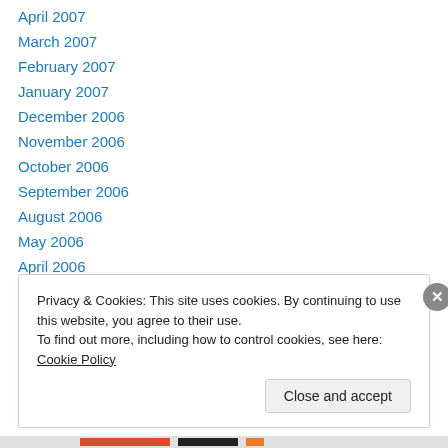April 2007
March 2007
February 2007
January 2007
December 2006
November 2006
October 2006
September 2006
August 2006
May 2006
April 2006
March 2006
February 2006
Privacy & Cookies: This site uses cookies. By continuing to use this website, you agree to their use. To find out more, including how to control cookies, see here: Cookie Policy